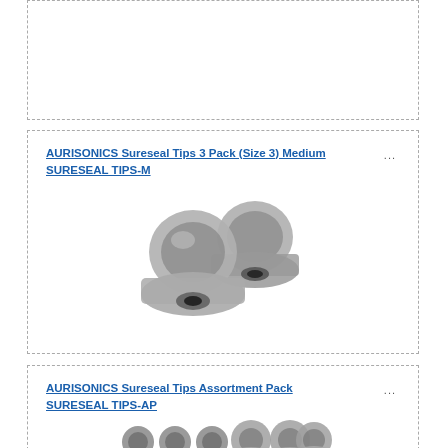AURISONICS Sureseal Tips 3 Pack (Size 3) Medium SURESEAL TIPS-M
[Figure (photo): Two medium-sized gray silicone eartips (AURISONICS Sureseal) viewed from the side, overlapping slightly]
AURISONICS Sureseal Tips Assortment Pack SURESEAL TIPS-AP
[Figure (photo): Six assorted gray silicone eartips (AURISONICS Sureseal) in two sizes arranged in a row]